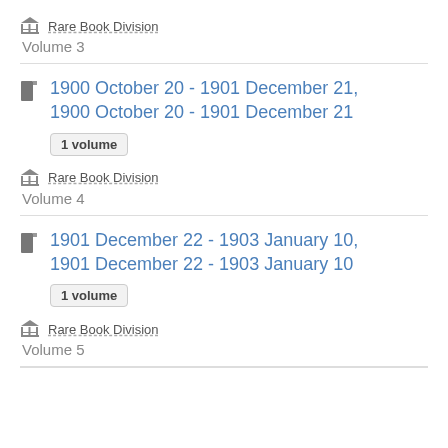Rare Book Division
Volume 3
1900 October 20 - 1901 December 21, 1900 October 20 - 1901 December 21
1 volume
Rare Book Division
Volume 4
1901 December 22 - 1903 January 10, 1901 December 22 - 1903 January 10
1 volume
Rare Book Division
Volume 5